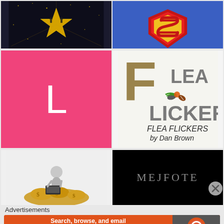[Figure (photo): Gold star on dark/black sparkly background]
[Figure (illustration): Superman logo - red and yellow S shield on blue background]
[Figure (logo): Pink square with white letter L]
[Figure (logo): Flea Flickers logo by Dan Brown - cartoon flea with football text]
[Figure (illustration): 3D figure person sitting on gold coins/letters working on laptop]
[Figure (logo): MEJFOTE text in grey letters on black background]
Advertisements
[Figure (screenshot): DuckDuckGo advertisement banner: Search, browse, and email with more privacy. All in One Free App]